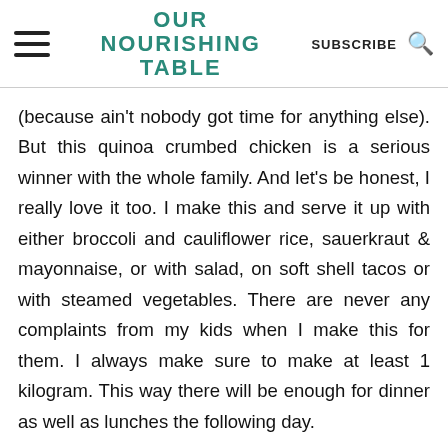OUR NOURISHING TABLE
(because ain't nobody got time for anything else). But this quinoa crumbed chicken is a serious winner with the whole family. And let's be honest, I really love it too. I make this and serve it up with either broccoli and cauliflower rice, sauerkraut & mayonnaise, or with salad, on soft shell tacos or with steamed vegetables. There are never any complaints from my kids when I make this for them. I always make sure to make at least 1 kilogram. This way there will be enough for dinner as well as lunches the following day.